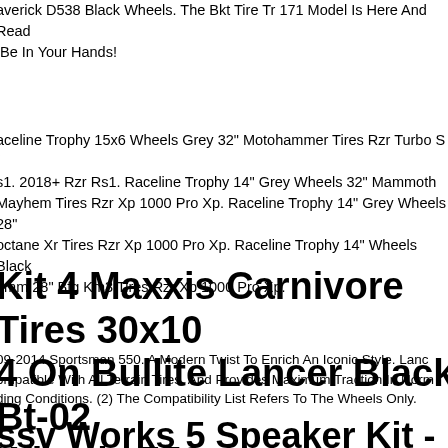averick D538 Black Wheels. The Bkt Tire Tr 171 Model Is Here And Ready To Be In Your Hands!
aceline Trophy 15x6 Wheels Grey 32" Motohammer Tires Rzr Turbo S / s1. 2018+ Rzr Rs1. Raceline Trophy 14" Grey Wheels 32" Mammoth Mayhem Tires Rzr Xp 1000 Pro Xp. Raceline Trophy 14" Grey Wheels 28" octane Xr Tires Rzr Xp 1000 Pro Xp. Raceline Trophy 14" Wheels Black 8mm 28" Bfg Km3 Tires Rzr Xp 1000 Pro Xp.
Kit 4 Maxxis Carnivore Tires 30x10 4 On Bullite Lancer Black Bt-02 Wheels 550
09-2014 Sportsman 550. A Modern Twist To Enrich An Iconic Style. Lancer Compatible With All Terrain Tires, And Provides Maximum Traction In Normal Riding Conditions. (2) The Compatibility List Refers To The Wheels Only.
ssv Works 5 Speaker Kit - Rz3-5a